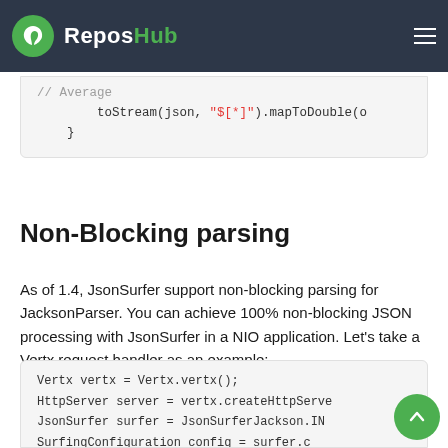ReposHub
// Average
        toStream(json, "$[*]").mapToDouble(o
    }
Non-Blocking parsing
As of 1.4, JsonSurfer support non-blocking parsing for JacksonParser. You can achieve 100% non-blocking JSON processing with JsonSurfer in a NIO application. Let's take a Vertx request handler as an example:
Vertx vertx = Vertx.vertx();
HttpServer server = vertx.createHttpServer
JsonSurfer surfer = JsonSurferJackson.IN
SurfingConfiguration config = surfer.c
        .bind("$[*]", (JsonPathListener)